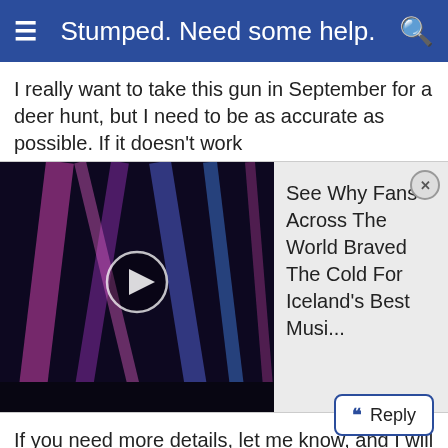Stumped. Need some help.
I really want to take this gun in September for a deer hunt, but I need to be as accurate as possible. If it doesn't work
[Figure (screenshot): Video thumbnail of a concert with stage lights, with a play button overlay. Alongside is a floating ad panel with text: 'See Why Fans Across The World Braved The Cold For Iceland's Best Musi...' with a close button.]
If you need more details, let me know, and I will post them.
I've been working on this for two weeks with no success. It's a little frustrating.
Jared
Reply